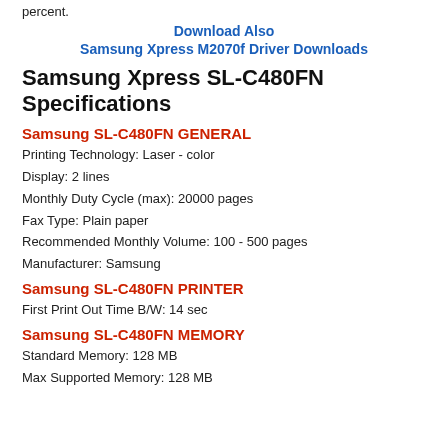percent.
Download Also
Samsung Xpress M2070f Driver Downloads
Samsung Xpress SL-C480FN Specifications
Samsung SL-C480FN GENERAL
Printing Technology: Laser - color
Display: 2 lines
Monthly Duty Cycle (max): 20000 pages
Fax Type: Plain paper
Recommended Monthly Volume: 100 - 500 pages
Manufacturer: Samsung
Samsung SL-C480FN PRINTER
First Print Out Time B/W: 14 sec
Samsung SL-C480FN MEMORY
Standard Memory: 128 MB
Max Supported Memory: 128 MB